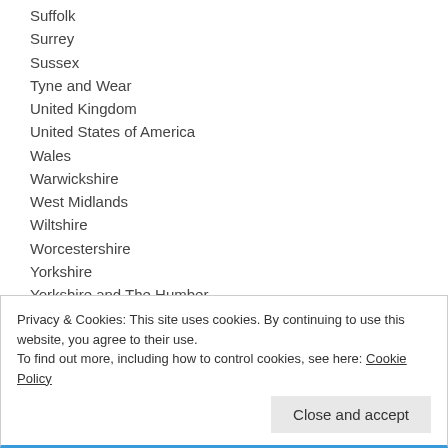Suffolk
Surrey
Sussex
Tyne and Wear
United Kingdom
United States of America
Wales
Warwickshire
West Midlands
Wiltshire
Worcestershire
Yorkshire
Yorkshire and The Humber
Privacy & Cookies: This site uses cookies. By continuing to use this website, you agree to their use. To find out more, including how to control cookies, see here: Cookie Policy